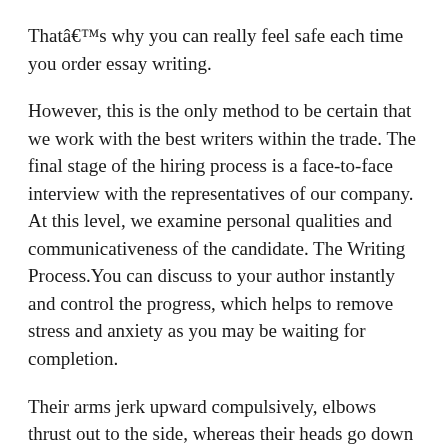Thatâ€™s why you can really feel safe each time you order essay writing.
However, this is the only method to be certain that we work with the best writers within the trade. The final stage of the hiring process is a face-to-face interview with the representatives of our company. At this level, we examine personal qualities and communicativeness of the candidate. The Writing Process.You can discuss to your author instantly and control the progress, which helps to remove stress and anxiety as you may be waiting for completion.
Their arms jerk upward compulsively, elbows thrust out to the side, whereas their heads go down simultaneously. As the spasms subside, they usually accompany the arm’s return to place by tapping their ft, exhaling loud breaths, or fidgeting in another way. The